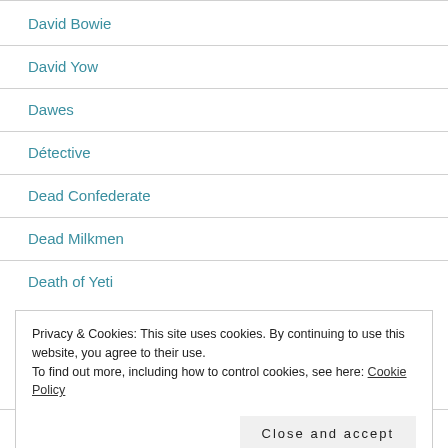David Bowie
David Yow
Dawes
Détective
Dead Confederate
Dead Milkmen
Death of Yeti
Privacy & Cookies: This site uses cookies. By continuing to use this website, you agree to their use. To find out more, including how to control cookies, see here: Cookie Policy
Detroit Cobras